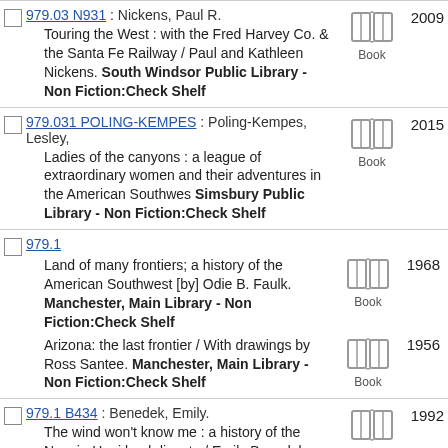979.03 N931 : Nickens, Paul R. — Touring the West : with the Fred Harvey Co. & the Santa Fe Railway / Paul and Kathleen Nickens. South Windsor Public Library - Non Fiction:Check Shelf 2009 Book
979.031 POLING-KEMPES : Poling-Kempes, Lesley, — Ladies of the canyons : a league of extraordinary women and their adventures in the American Southwes Simsbury Public Library - Non Fiction:Check Shelf 2015 Book
979.1 — Land of many frontiers; a history of the American Southwest [by] Odie B. Faulk. Manchester, Main Library - Non Fiction:Check Shelf 1968 Book — Arizona: the last frontier / With drawings by Ross Santee. Manchester, Main Library - Non Fiction:Check Shelf 1956 Book
979.1 B434 : Benedek, Emily. — The wind won't know me : a history of the Navajo-Hopi land dispute / Emily Benedek. Bristol, Main Library - Non Fiction:Check Shelf, New Britain, Main Library - Non Fiction:Check Shelf 1992 Book
979.1 C84 : Crampton, C. Gregory — Land of living rock; the Grand Canyon and the high plateaus: Arizona, Utah, Nevada [by] C. Gregory C. Manchester, Main Library - Non 1972 Book